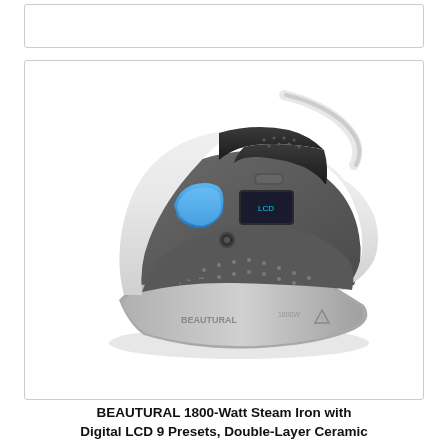[Figure (photo): Product photo of a BEAUTURAL 1800-Watt steam iron with white and gray body, blue water tank window, digital LCD panel, and ceramic soleplate. The iron is shown at an angle on a white background with a white power cord.]
BEAUTURAL 1800-Watt Steam Iron with Digital LCD 9 Presets, Double-Layer Ceramic